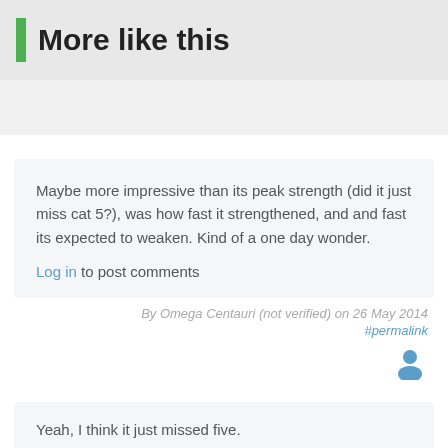More like this
Maybe more impressive than its peak strength (did it just miss cat 5?), was how fast it strengthened, and and fast its expected to weaken. Kind of a one day wonder.
Log in to post comments
By Omega Centauri (not verified) on 26 May 2014
#permalink
Yeah, I think it just missed five.